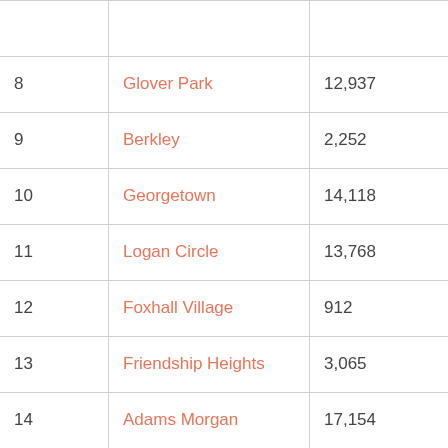| # | Neighborhood | Population |
| --- | --- | --- |
| 8 | Glover Park | 12,937 |
| 9 | Berkley | 2,252 |
| 10 | Georgetown | 14,118 |
| 11 | Logan Circle | 13,768 |
| 12 | Foxhall Village | 912 |
| 13 | Friendship Heights | 3,065 |
| 14 | Adams Morgan | 17,154 |
| 15 | Dupont Circle | 13,633 |
| 16 | Mount Pleasant | 12,696 |
| 17 | U Street Corridor | 10,104 |
| 18 | Takoma Park | 5,302 |
| 19 | Petworth | 11,886 |